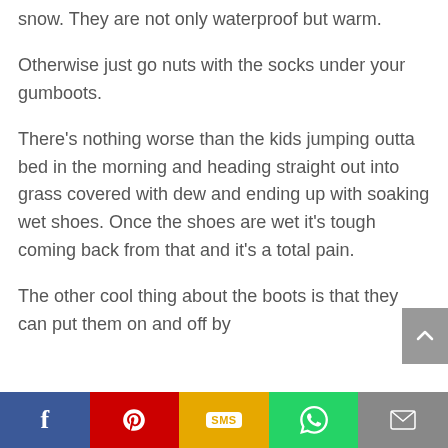snow. They are not only waterproof but warm.
Otherwise just go nuts with the socks under your gumboots.
There's nothing worse than the kids jumping outta bed in the morning and heading straight out into grass covered with dew and ending up with soaking wet shoes. Once the shoes are wet it's tough coming back from that and it's a total pain.
The other cool thing about the boots is that they can put them on and off by
Facebook | Pinterest | SMS | WhatsApp | Email